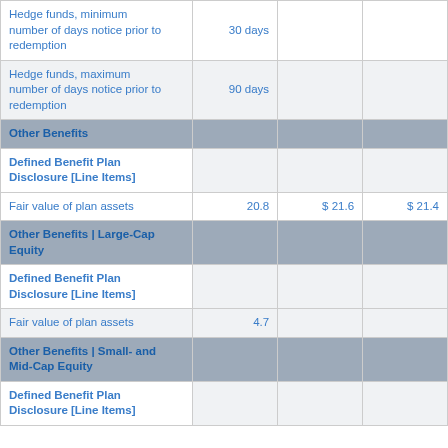|  |  |  |  |
| --- | --- | --- | --- |
| Hedge funds, minimum number of days notice prior to redemption | 30 days |  |  |
| Hedge funds, maximum number of days notice prior to redemption | 90 days |  |  |
| Other Benefits |  |  |  |
| Defined Benefit Plan Disclosure [Line Items] |  |  |  |
| Fair value of plan assets | 20.8 | $ 21.6 | $ 21.4 |
| Other Benefits | Large-Cap Equity |  |  |  |
| Defined Benefit Plan Disclosure [Line Items] |  |  |  |
| Fair value of plan assets | 4.7 |  |  |
| Other Benefits | Small- and Mid-Cap Equity |  |  |  |
| Defined Benefit Plan Disclosure [Line Items] |  |  |  |